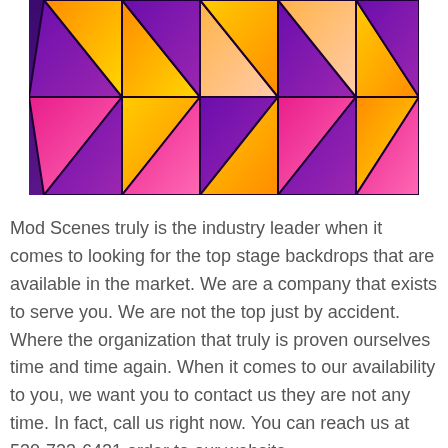[Figure (photo): A colorful backlit triangular panel display with purple, orange, yellow, and pink illuminated triangles arranged in a grid pattern, creating a geometric stage backdrop.]
Mod Scenes truly is the industry leader when it comes to looking for the top stage backdrops that are available in the market. We are a company that exists to serve you. We are not the top just by accident. Where the organization that truly is proven ourselves time and time again. When it comes to our availability to you, we want you to contact us they are not any time. In fact, call us right now. You can reach us at 530-723-6421 order to our website https://modscenes.com/ today. We are confident that as we work together you will truly see that not only